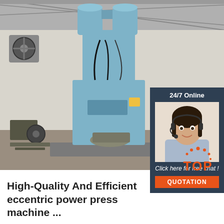[Figure (photo): Industrial eccentric power press machine in blue, large vertical machine with two cylindrical tanks on top, set in a warehouse/industrial building with concrete floor]
[Figure (infographic): 24/7 Online chat support box with a female customer service agent wearing a headset, dark blue background, 'Click here for free chat!' text and orange QUOTATION button]
[Figure (logo): TOP badge in orange with decorative dots above]
High-Quality And Efficient eccentric power press machine ...